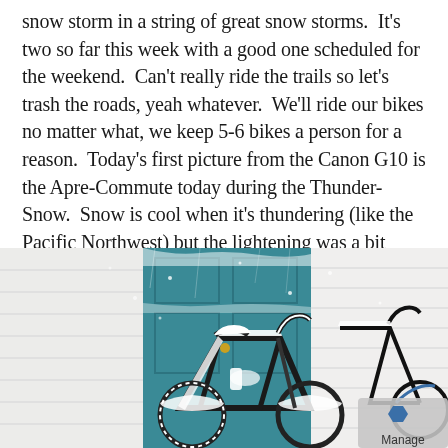snow storm in a string of great snow storms.  It's two so far this week with a good one scheduled for the weekend.  Can't really ride the trails so let's trash the roads, yeah whatever.  We'll ride our bikes no matter what, we keep 5-6 bikes a person for a reason.  Today's first picture from the Canon G10 is the Apre-Commute today during the Thunder-Snow.  Snow is cool when it's thundering (like the Pacific Northwest) but the lightening was a bit scary as it seemed to be hitting quite close.
[Figure (photo): A snow-covered road bicycle leaning against a teal/blue door and white siding exterior wall. The bike is heavily coated in white snow and ice. A second bike is partially visible to the right. A Manage logo badge appears in the lower right corner.]